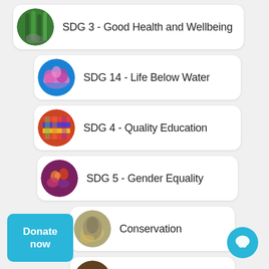SDG 3 - Good Health and Wellbeing
SDG 14 - Life Below Water
SDG 4 - Quality Education
SDG 5 - Gender Equality
Conservation
U.S. Education
Donate now